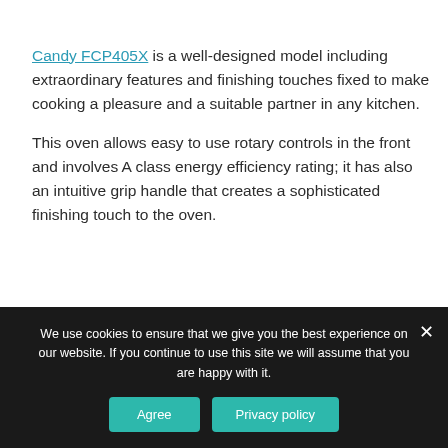Candy FCP405X is a well-designed model including extraordinary features and finishing touches fixed to make cooking a pleasure and a suitable partner in any kitchen.
This oven allows easy to use rotary controls in the front and involves A class energy efficiency rating; it has also an intuitive grip handle that creates a sophisticated finishing touch to the oven.
The oven has a...
We use cookies to ensure that we give you the best experience on our website. If you continue to use this site we will assume that you are happy with it.